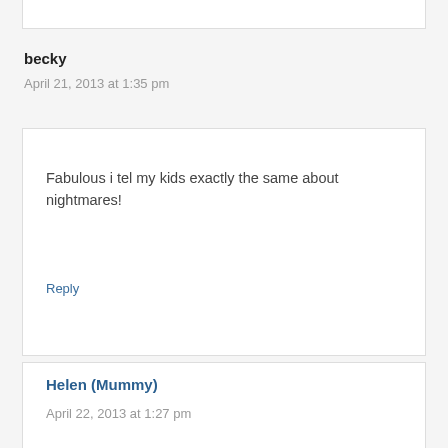becky
April 21, 2013 at 1:35 pm
Fabulous i tel my kids exactly the same about nightmares!
Reply
Helen (Mummy)
April 22, 2013 at 1:27 pm